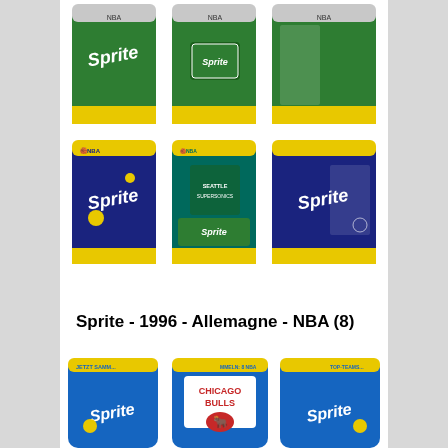[Figure (photo): Six Sprite NBA special edition cans arranged in two rows of three. Top row shows green Sprite cans with NBA branding. Bottom row shows dark blue/green Sprite NBA cans including Seattle SuperSonics team edition.]
Sprite - 1996 - Allemagne - NBA (8)
[Figure (photo): Three Sprite NBA cans partially visible, featuring Chicago Bulls team branding with the Bulls logo. Yellow top band reads 'JETZT SAMMELN: 8 NBA TOP-TEAMS'. Blue and green cans with Sprite branding.]